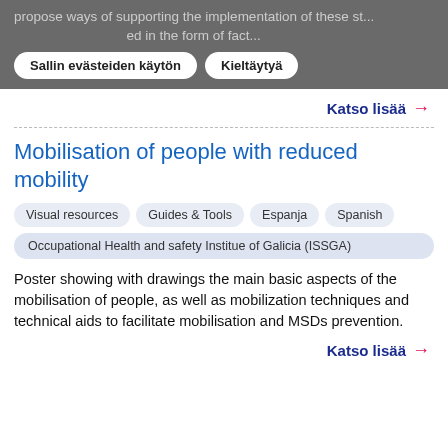propose ways of supporting the implementation of these st... ... ed in the form of fact...
Katso lisää →
Mobilisation of people with reduced mobility
Visual resources
Guides & Tools
Espanja
Spanish
Occupational Health and safety Institue of Galicia (ISSGA)
Poster showing with drawings the main basic aspects of the mobilisation of people, as well as mobilization techniques and technical aids to facilitate mobilisation and MSDs prevention.
Katso lisää →